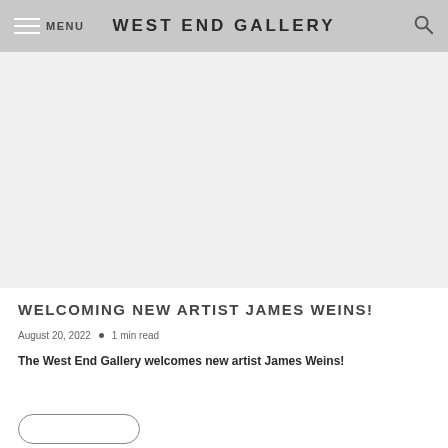MENU  WEST END GALLERY
[Figure (photo): Large image area, appears blank/white in this rendering]
WELCOMING NEW ARTIST JAMES WEINS!
August 20, 2022  •  1 min read
The West End Gallery welcomes new artist James Weins!